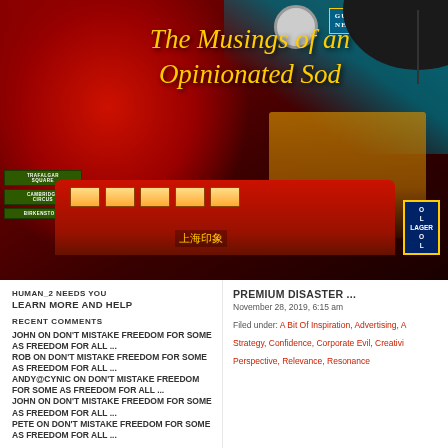[Figure (photo): Blog header image: nighttime city street scene combining London and Hong Kong imagery — red double-decker bus with Chinese signage, neon signs, street signs for Trafalgar Square, Cambridge Circus, Birkenstock, a clock, and black umbrella in upper right. Red circle in center contains italic yellow text 'The Musings of an Opinionated Sod'.]
The Musings of an Opinionated Sod
HUMAN_2 NEEDS YOU
LEARN MORE AND HELP
RECENT COMMENTS
JOHN ON DON'T MISTAKE FREEDOM FOR SOME AS FREEDOM FOR ALL ...
ROB ON DON'T MISTAKE FREEDOM FOR SOME AS FREEDOM FOR ALL ...
ANDY@CYNIC ON DON'T MISTAKE FREEDOM FOR SOME AS FREEDOM FOR ALL ...
JOHN ON DON'T MISTAKE FREEDOM FOR SOME AS FREEDOM FOR ALL ...
PETE ON DON'T MISTAKE FREEDOM FOR SOME AS FREEDOM FOR ALL ...
PREMIUM DISASTER ...
November 28, 2019, 6:15 am
Filed under: A Bit Of Inspiration, Advertising, A... Strategy, Confidence, Corporate Evil, Creativi... Perspective, Relevance, Resonance